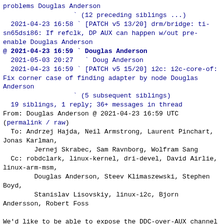problems Douglas Anderson
  (12 preceding siblings ...)
2021-04-23 16:58 ` [PATCH v5 13/20] drm/bridge: ti-sn65dsi86: If refclk, DP AUX can happen w/out pre-enable Douglas Anderson
@ 2021-04-23 16:59 ` Douglas Anderson
  2021-05-03 20:27   ` Doug Anderson
  2021-04-23 16:59 ` [PATCH v5 15/20] i2c: i2c-core-of: Fix corner case of finding adapter by node Douglas Anderson
              ` (5 subsequent siblings)
  19 siblings, 1 reply; 36+ messages in thread
From: Douglas Anderson @ 2021-04-23 16:59 UTC
(permalink / raw)
  To: Andrzej Hajda, Neil Armstrong, Laurent Pinchart, Jonas Karlman,
        Jernej Skrabec, Sam Ravnborg, Wolfram Sang
  Cc: robdclark, linux-kernel, dri-devel, David Airlie, linux-arm-msm,
        Douglas Anderson, Steev Klimaszewski, Stephen Boyd,
        Stanislav Lisovskiy, linux-i2c, Bjorn Andersson, Robert Foss

We'd like to be able to expose the DDC-over-AUX channel bus to our
panel. This gets into a chicken-and-egg problem because:
- The panel wants to get its DDC at probe time.
- The ti-sn65dsi86 MIPI-to-eDP bridge code, which provides the DDC